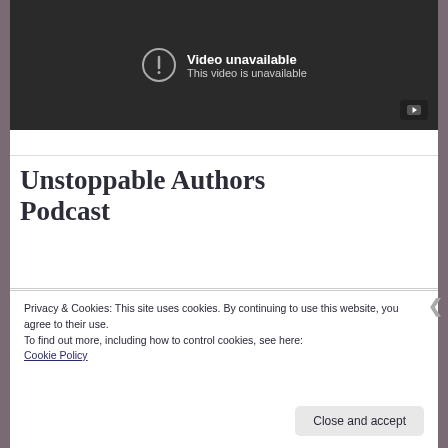[Figure (screenshot): YouTube-style video player showing 'Video unavailable – This video is unavailable' message on dark background with a YouTube play button in the bottom right corner.]
Unstoppable Authors Podcast
Privacy & Cookies: This site uses cookies. By continuing to use this website, you agree to their use.
To find out more, including how to control cookies, see here: Cookie Policy
Close and accept